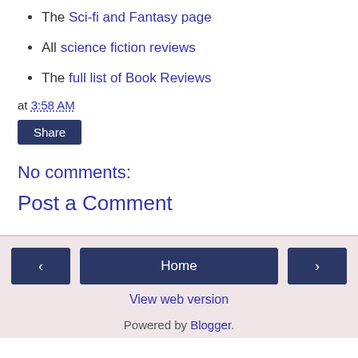The Sci-fi and Fantasy page
All science fiction reviews
The full list of Book Reviews
at 3:58 AM
Share
No comments:
Post a Comment
< Home > View web version Powered by Blogger.